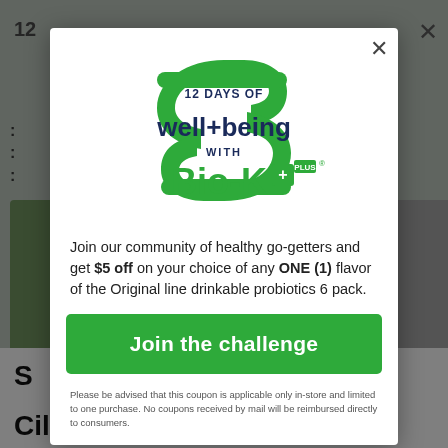[Figure (logo): 12 Days of well+being with Bio-K+ Plus logo — green pill/capsule shaped mark with dark navy and green text]
Join our community of healthy go-getters and get $5 off on your choice of any ONE (1) flavor of the Original line drinkable probiotics 6 pack.
Join the challenge
Please be advised that this coupon is applicable only in-store and limited to one purchase. No coupons received by mail will be reimbursed directly to consumers.